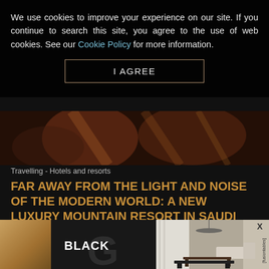We use cookies to improve your experience on our site. If you continue to search this site, you agree to the use of web cookies. See our Cookie Policy for more information.
I AGREE
[Figure (photo): Dark hero image showing abstract close-up of warm reddish-brown textured surfaces with diagonal lighting]
Travelling - Hotels and resorts
FAR AWAY FROM THE LIGHT AND NOISE OF THE MODERN WORLD: A NEW LUXURY MOUNTAIN RESORT IN SAUDI ARABIA
Nowadays, in order for one hotel to be special and stand out from the crowd of others, it must really give its best and offer an unusual experier
[Figure (photo): Advertisement banner showing Black brand logo on dark background and fusiontables furniture advertisement with interior photo]